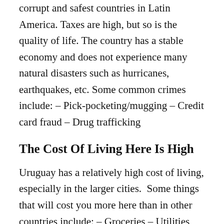corrupt and safest countries in Latin America. Taxes are high, but so is the quality of life. The country has a stable economy and does not experience many natural disasters such as hurricanes, earthquakes, etc. Some common crimes include: – Pick-pocketing/mugging – Credit card fraud – Drug trafficking
The Cost Of Living Here Is High
Uruguay has a relatively high cost of living, especially in the larger cities.  Some things that will cost you more here than in other countries include: – Groceries – Utilities (electricity, water, internet, cable) – Rent, and many other things, to mention a few.